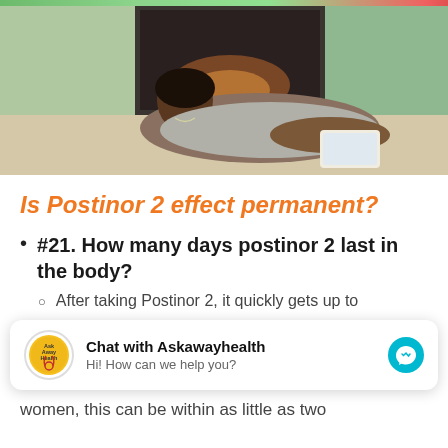[Figure (photo): Woman lying on the floor looking at a tablet/phone, with a fireplace in the background. Top bar has green and red color accents.]
Is Postinor 2 effect permanent?
#21. How many days postinor 2 last in the body?
After taking Postinor 2, it quickly gets up to
women, this can be within as little as two